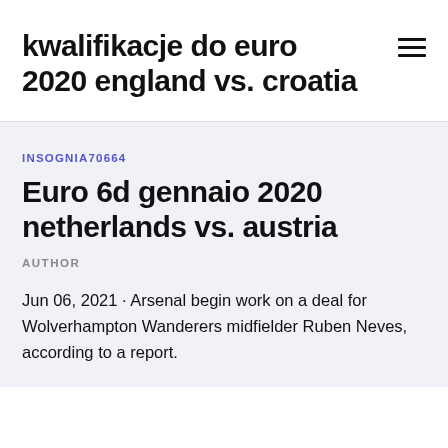kwalifikacje do euro 2020 england vs. croatia
INSOGNIA70664
Euro 6d gennaio 2020 netherlands vs. austria
AUTHOR
Jun 06, 2021 · Arsenal begin work on a deal for Wolverhampton Wanderers midfielder Ruben Neves, according to a report.